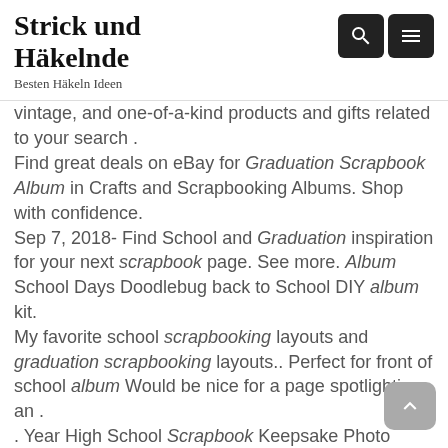Strick und Häkelnde
Besten Häkeln Ideen
vintage, and one-of-a-kind products and gifts related to your search . Find great deals on eBay for Graduation Scrapbook Album in Crafts and Scrapbooking Albums. Shop with confidence. Sep 7, 2018- Find School and Graduation inspiration for your next scrapbook page. See more. Album School Days Doodlebug back to School DIY album kit. My favorite school scrapbooking layouts and graduation scrapbooking layouts.. Perfect for front of school album Would be nice for a page spotlighting an . . Year High School Scrapbook Keepsake Photo Album Journal Book. +. KAREN FOSTER 20521 Design Themed Paper and Stickers Scrapbook Kit, Graduation.